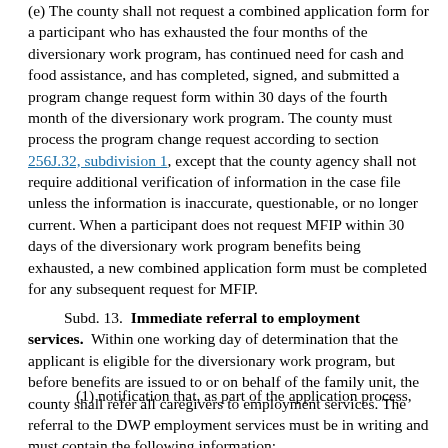(e) The county shall not request a combined application form for a participant who has exhausted the four months of the diversionary work program, has continued need for cash and food assistance, and has completed, signed, and submitted a program change request form within 30 days of the fourth month of the diversionary work program. The county must process the program change request according to section 256J.32, subdivision 1, except that the county agency shall not require additional verification of information in the case file unless the information is inaccurate, questionable, or no longer current. When a participant does not request MFIP within 30 days of the diversionary work program benefits being exhausted, a new combined application form must be completed for any subsequent request for MFIP.
Subd. 13. Immediate referral to employment services. Within one working day of determination that the applicant is eligible for the diversionary work program, but before benefits are issued to or on behalf of the family unit, the county shall refer all caregivers to employment services. The referral to the DWP employment services must be in writing and must contain the following information:
(1) notification that, as part of the application process,